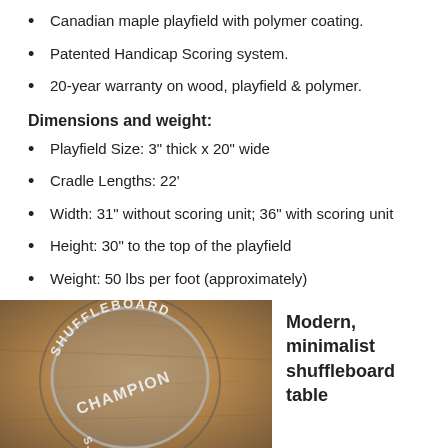Canadian maple playfield with polymer coating.
Patented Handicap Scoring system.
20-year warranty on wood, playfield & polymer.
Dimensions and weight:
Playfield Size: 3" thick x 20" wide
Cradle Lengths: 22'
Width: 31" without scoring unit; 36" with scoring unit
Height: 30" to the top of the playfield
Weight: 50 lbs per foot (approximately)
[Figure (photo): Close-up photo of a shuffleboard table surface with engraved metal medallion reading SHUFFLEBOARD CHAMPION, S. TEXAS]
Modern, minimalist shuffleboard table